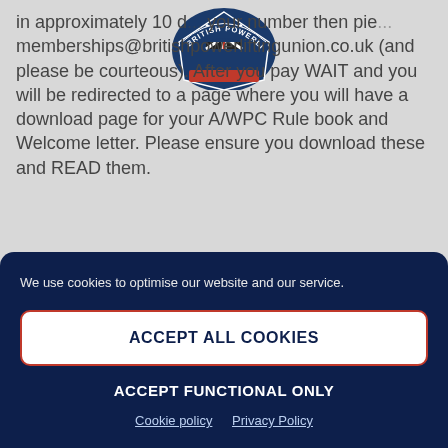[Figure (logo): British Powerlifting Union shield logo with text arc around it]
in approximately 10 d... your number then pie... memberships@britishpowerloiftingunion.co.uk (and please be courteous). After you pay WAIT and you will be redirected to a page where you will have a download page for your A/WPC Rule book and Welcome letter. Please ensure you download these and READ them.
IF I DONT HEAR ANYTHING BACK IN 10 DAYS?
We use cookies to optimise our website and our service.
ACCEPT ALL COOKIES
ACCEPT FUNCTIONAL ONLY
Cookie policy  Privacy Policy